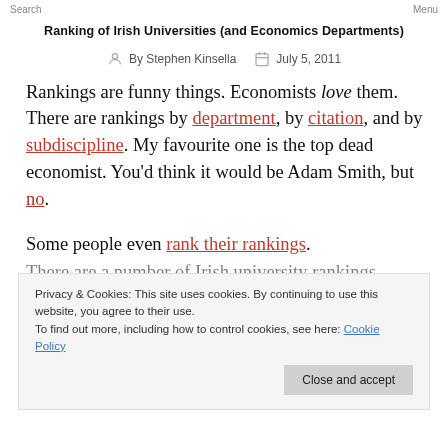Search   Menu
Ranking of Irish Universities (and Economics Departments)
By Stephen Kinsella   July 5, 2011
Rankings are funny things. Economists love them. There are rankings by department, by citation, and by subdiscipline. My favourite one is the top dead economist. You'd think it would be Adam Smith, but no.
Some people even rank their rankings.
Privacy & Cookies: This site uses cookies. By continuing to use this website, you agree to their use.
To find out more, including how to control cookies, see here: Cookie Policy